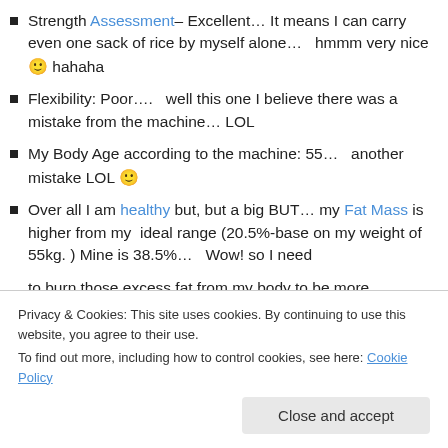Strength Assessment– Excellent… It means I can carry even one sack of rice by myself alone…   hmmm very nice 🙂 hahaha
Flexibility: Poor….   well this one I believe there was a mistake from the machine… LOL
My Body Age according to the machine: 55…   another mistake LOL 🙂
Over all I am healthy but, but a big BUT… my Fat Mass is higher from my  ideal range (20.5%-base on my weight of 55kg. ) Mine is 38.5%…   Wow! so I need to burn those excess fat from my body to be more
Privacy & Cookies: This site uses cookies. By continuing to use this website, you agree to their use.
To find out more, including how to control cookies, see here: Cookie Policy